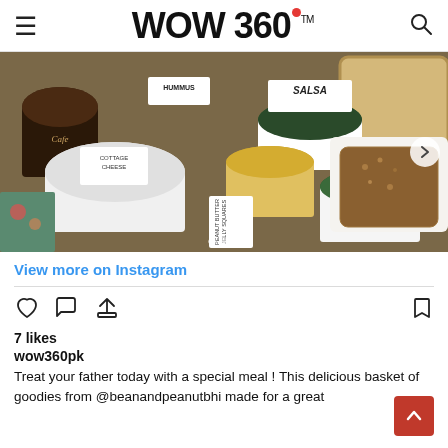WOW 360™
[Figure (photo): Photo of a food basket with various jars and food items including hummus, salsa, cottage cheese, laboneh, peanut butter jelly squares, bread, and other products from Bean & Peanut brand.]
View more on Instagram
7 likes
wow360pk
Treat your father today with a special meal ! This delicious basket of goodies from @beanandpeanutbhi made for a great